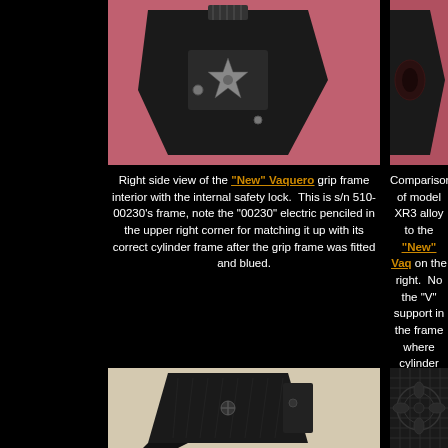[Figure (photo): Right side view of a revolver grip frame interior showing internal safety lock mechanism on pink fabric background]
[Figure (photo): Partial right side view of New Vaquero grip frame on pink fabric background]
Right side view of the "New" Vaquero grip frame interior with the internal safety lock. This is s/n 510-00230's frame, note the "00230" electric penciled in the upper right corner for matching it up with its correct cylinder frame after the grip frame was fitted and blued.
Comparison of model XR3 alloy to the "New" Vaquero on the right. Note the "V" support in the frame where the cylinder frame and support on the new model XR3 that Ruger decided "supports" were needed on the steel
[Figure (photo): Close-up of black rubber grip panels on a revolver]
[Figure (photo): Close-up of decorative carved grip panel with floral pattern]